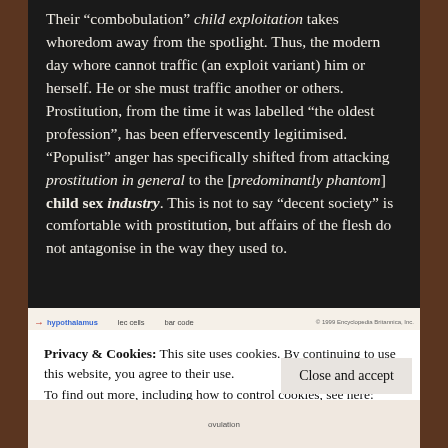Their “combobulation” child exploitation takes whoredom away from the spotlight. Thus, the modern day whore cannot traffic (an exploit variant) him or herself. He or she must traffic another or others. Prostitution, from the time it was labelled “the oldest profession”, has been effervescently legitimised. “Populist” anger has specifically shifted from attacking prostitution in general to the [predominantly phantom] child sex industry. This is not to say “decent society” is comfortable with prostitution, but affairs of the flesh do not antagonise in the way they used to.
[Figure (illustration): Diagram strip showing hypothalamus label with arrow, lec cells label, bar code label, and Encyclopedia Britannica copyright 1999]
Privacy & Cookies: This site uses cookies. By continuing to use this website, you agree to their use.
To find out more, including how to control cookies, see here:
Cookie Policy
Close and accept